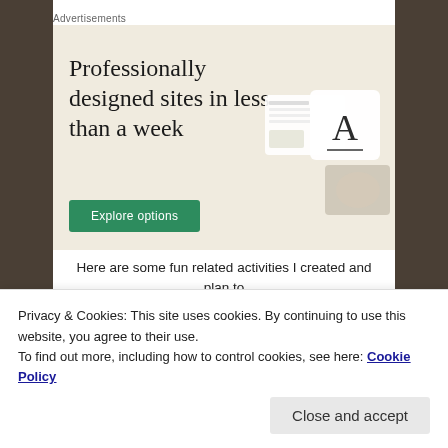Advertisements
[Figure (illustration): Advertisement banner with beige background showing text 'Professionally designed sites in less than a week' with a green 'Explore options' button and mock website/device screenshots on the right side.]
Here are some fun related activities I created and plan to share with my students in the upcoming lesson for
Privacy & Cookies: This site uses cookies. By continuing to use this website, you agree to their use.
To find out more, including how to control cookies, see here: Cookie Policy
Close and accept